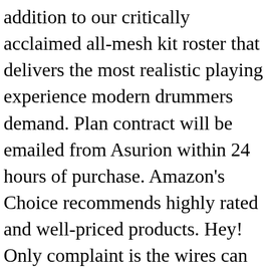addition to our critically acclaimed all-mesh kit roster that delivers the most realistic playing experience modern drummers demand. Plan contract will be emailed from Asurion within 24 hours of purchase. Amazon's Choice recommends highly rated and well-priced products. Hey! Only complaint is the wires can be a little short so customizing the drum layout is challenging. The Alesis Nitro Mesh features an 8" dual-zone mesh snare drum and (3) 8" mesh toms. Price. or Best Offer. The Alesis Nitro Mesh features an 8" dual-zone mesh snare drum and (3) 8" mesh toms. For